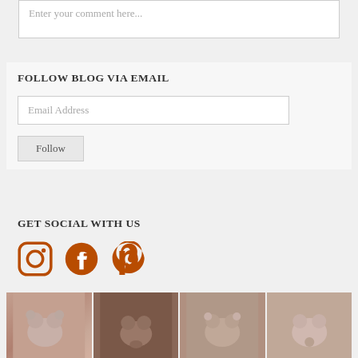Enter your comment here...
FOLLOW BLOG VIA EMAIL
Email Address
Follow
GET SOCIAL WITH US
[Figure (illustration): Three orange social media icons: Instagram, Facebook, Pinterest]
[Figure (photo): Strip of four photos showing small pink/mauve clay or ceramic bear-shaped beads/figurines]